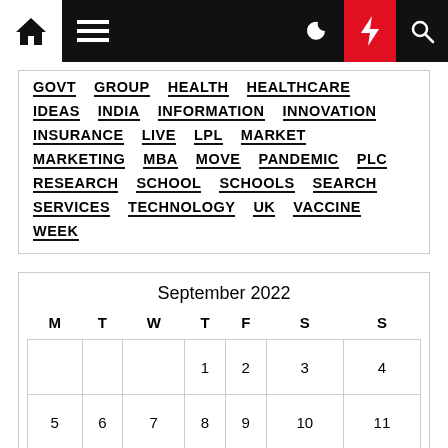Navigation bar with home, menu, moon, bolt, and search icons
GOVT GROUP HEALTH HEALTHCARE IDEAS INDIA INFORMATION INNOVATION INSURANCE LIVE LPL MARKET MARKETING MBA MOVE PANDEMIC PLC RESEARCH SCHOOL SCHOOLS SEARCH SERVICES TECHNOLOGY UK VACCINE WEEK
| M | T | W | T | F | S | S |
| --- | --- | --- | --- | --- | --- | --- |
|  |  |  | 1 | 2 | 3 | 4 |
| 5 | 6 | 7 | 8 | 9 | 10 | 11 |